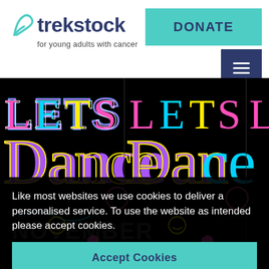[Figure (logo): Trekstock logo with leaf/check icon in teal, bold dark blue text 'trekstock', subtitle 'for young adults with cancer']
DONATE
[Figure (infographic): Repeating colorful 'LETS Dance' poster artwork on black background with neon colors]
Like most websites we use cookies to deliver a personalised service. To use the website as intended please accept cookies.
Accept Cookies